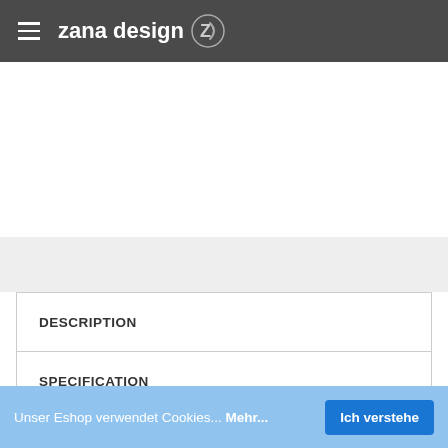zana design
DESCRIPTION
SPECIFICATION
REVIEWS (0)
Unser Eshop verwendet Cookies... Mehr...
Ich verstehe